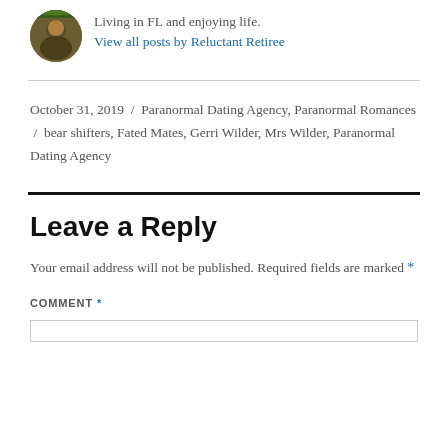[Figure (photo): Small circular avatar photo of a person outdoors]
Living in FL and enjoying life.
View all posts by Reluctant Retiree
October 31, 2019 / Paranormal Dating Agency, Paranormal Romances / bear shifters, Fated Mates, Gerri Wilder, Mrs Wilder, Paranormal Dating Agency
Leave a Reply
Your email address will not be published. Required fields are marked *
COMMENT *